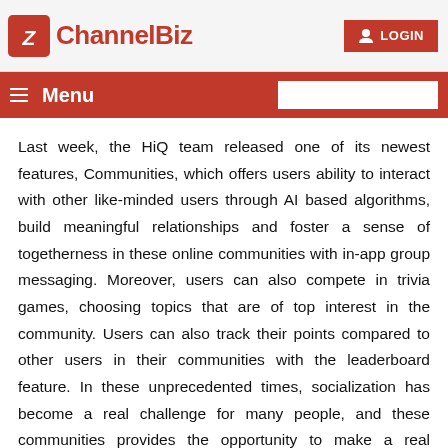ChannelBiz | LOGIN
Menu
Last week, the HiQ team released one of its newest features, Communities, which offers users ability to interact with other like-minded users through AI based algorithms, build meaningful relationships and foster a sense of togetherness in these online communities with in-app group messaging. Moreover, users can also compete in trivia games, choosing topics that are of top interest in the community. Users can also track their points compared to other users in their communities with the leaderboard feature. In these unprecedented times, socialization has become a real challenge for many people, and these communities provides the opportunity to make a real connection in an unreal time.